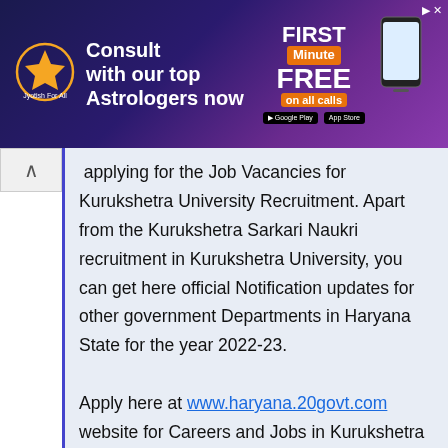[Figure (screenshot): Advertisement banner for Jyotish For All astrology app: 'Consult with our top Astrologers now – FIRST Minute FREE on all calls']
applying for the Job Vacancies for Kurukshetra University Recruitment. Apart from the Kurukshetra Sarkari Naukri recruitment in Kurukshetra University, you can get here official Notification updates for other government Departments in Haryana State for the year 2022-23.

Apply here at www.haryana.20govt.com website for Careers and Jobs in Kurukshetra University from their official portal @www.kuk.ac.in. Apply for Haryana State Government Jobs for 10th, 12th pass, Graduate/ Graduation, Diploma/Degree